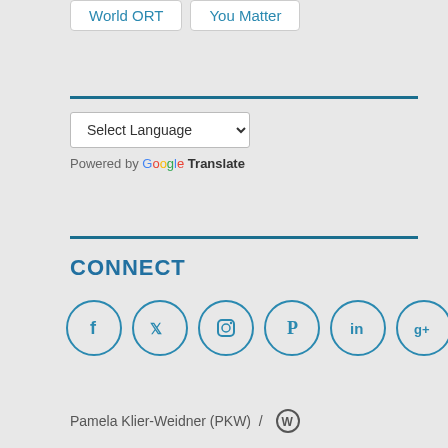World ORT
You Matter
[Figure (other): Language selector dropdown with 'Select Language' and chevron arrow, followed by 'Powered by Google Translate' text]
CONNECT
[Figure (infographic): Seven social media icon circles: Facebook, Twitter, Instagram, Pinterest, LinkedIn, Google+, WordPress]
Pamela Klier-Weidner (PKW) / WordPress icon